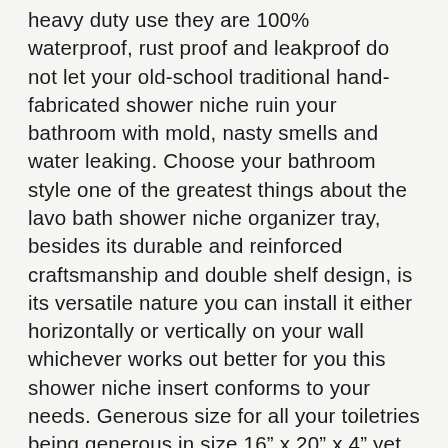heavy duty use they are 100% waterproof, rust proof and leakproof do not let your old-school traditional hand-fabricated shower niche ruin your bathroom with mold, nasty smells and water leaking. Choose your bathroom style one of the greatest things about the lavo bath shower niche organizer tray, besides its durable and reinforced craftsmanship and double shelf design, is its versatile nature you can install it either horizontally or vertically on your wall whichever works out better for you this shower niche insert conforms to your needs. Generous size for all your toiletries being generous in size 16" x 20" x 4" yet not bulky at all our toiletry wall organizers won't take much of your shower space great for really small bathrooms as well fill the 2 shelves with anything that comes to mind from shower gels, shampoos and lotions to shaving razors, body sponges, baby creams and more. Upgrade your shower dÉcor in secs transform your bathroom setting and aesthetically please even the tiniest shower with the lavo bath tile ready toiletry niches forget about spending a small fortune on expensive handmade niches that typically experiences major problems in the long run tile set directly